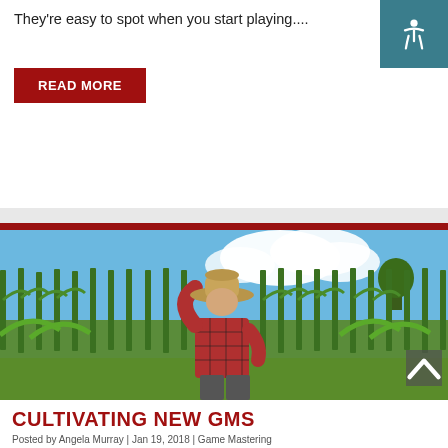They're easy to spot when you start playing....
READ MORE
[Figure (photo): A farmer in a red plaid shirt and straw hat stands with their back to the camera, looking out over a lush green cornfield under a partly cloudy blue sky.]
CULTIVATING NEW GMS
Posted by Angela Murray | Jan 19, 2018 | Game Mastering